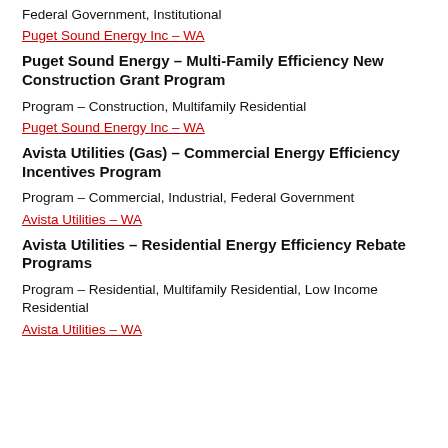Federal Government, Institutional
Puget Sound Energy Inc – WA
Puget Sound Energy – Multi-Family Efficiency New Construction Grant Program
Program – Construction, Multifamily Residential
Puget Sound Energy Inc – WA
Avista Utilities (Gas) – Commercial Energy Efficiency Incentives Program
Program – Commercial, Industrial, Federal Government
Avista Utilities – WA
Avista Utilities – Residential Energy Efficiency Rebate Programs
Program – Residential, Multifamily Residential, Low Income Residential
Avista Utilities – WA